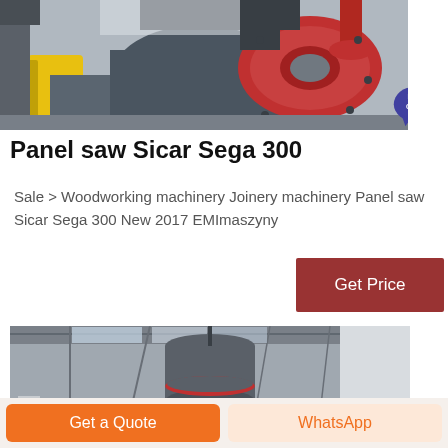[Figure (photo): Industrial machinery - panel saw Sicar Sega 300, showing large mechanical components with yellow cover and red disc, grey metal housing in a workshop/industrial setting]
Panel saw Sicar Sega 300
Sale > Woodworking machinery Joinery machinery Panel saw Sicar Sega 300 New 2017 EMImaszyny
[Figure (other): Live Chat button badge - teal speech bubble icon with LIVE CHAT text]
Get Price
[Figure (photo): Industrial interior of a warehouse/factory showing large cylindrical machinery suspended from ceiling structure with metal roof]
Get a Quote
WhatsApp